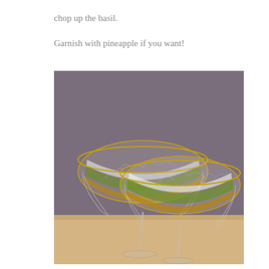chop up the basil.
Garnish with pineapple if you want!
[Figure (photo): Two elegant etched glass coupes with gold rims filled with a layered pineapple-basil cocktail (amber liquid at bottom, green foam on top), placed on a wooden surface against a grey-purple background.]